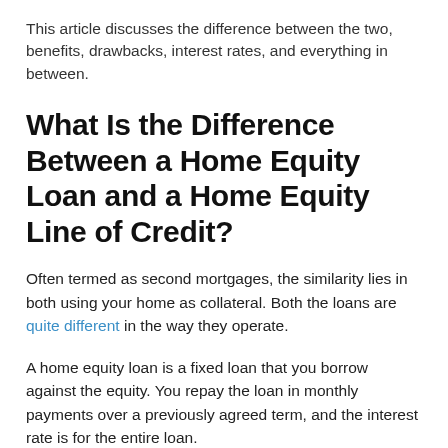This article discusses the difference between the two, benefits, drawbacks, interest rates, and everything in between.
What Is the Difference Between a Home Equity Loan and a Home Equity Line of Credit?
Often termed as second mortgages, the similarity lies in both using your home as collateral. Both the loans are quite different in the way they operate.
A home equity loan is a fixed loan that you borrow against the equity. You repay the loan in monthly payments over a previously agreed term, and the interest rate is for the entire loan.